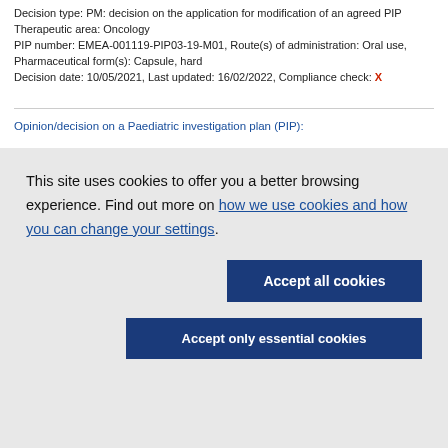Decision type: PM: decision on the application for modification of an agreed PIP
Therapeutic area: Oncology
PIP number: EMEA-001119-PIP03-19-M01, Route(s) of administration: Oral use, Pharmaceutical form(s): Capsule, hard
Decision date: 10/05/2021, Last updated: 16/02/2022, Compliance check: X
Opinion/decision on a Paediatric investigation plan (PIP):
This site uses cookies to offer you a better browsing experience. Find out more on how we use cookies and how you can change your settings.